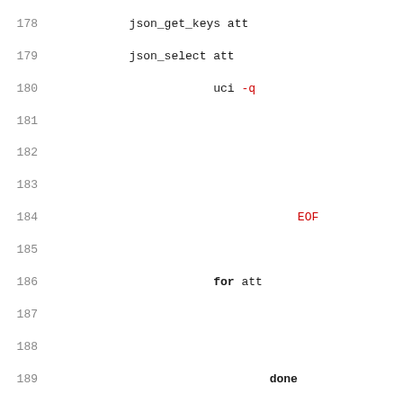[Figure (screenshot): Source code listing showing shell script lines 178-210, with line numbers on the left and code in monospace font. Keywords are bold, some tokens in red (EOF, local, add/set commands, string literals). Functions include json_select, uci, for loop, done, json_get_vars, generate_switch, and uci batch heredoc.]